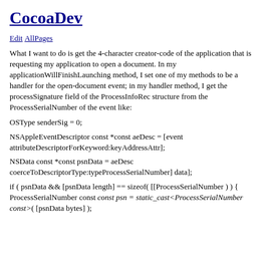CocoaDev
Edit AllPages
What I want to do is get the 4-character creator-code of the application that is requesting my application to open a document. In my applicationWillFinishLaunching method, I set one of my methods to be a handler for the open-document event; in my handler method, I get the processSignature field of the ProcessInfoRec structure from the ProcessSerialNumber of the event like:
OSType senderSig = 0;
NSAppleEventDescriptor const *const aeDesc = [event attributeDescriptorForKeyword:keyAddressAttr];
NSData const *const psnData = aeDesc coerceToDescriptorType:typeProcessSerialNumber] data];
if ( psnData && [psnData length] == sizeof( [[ProcessSerialNumber ) ) { ProcessSerialNumber const const psn = static_cast<ProcessSerialNumber const>( [psnData bytes] );